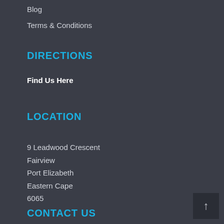Blog
Terms & Conditions
DIRECTIONS
Find Us Here
LOCATION
9 Leadwood Crescent
Fairview
Port Elizabeth
Eastern Cape
6065
CONTACT US